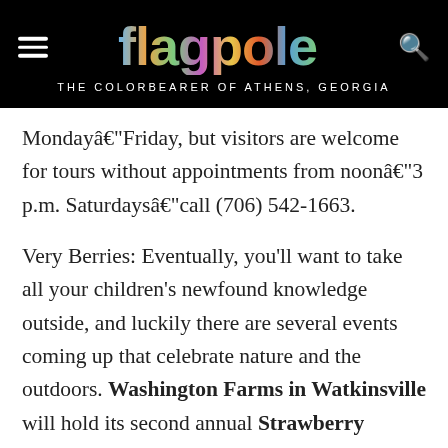flagpole — THE COLORBEARER OF ATHENS, GEORGIA
Mondayâ€"Friday, but visitors are welcome for tours without appointments from noonâ€"3 p.m. Saturdaysâ€"call (706) 542-1663.
Very Berries: Eventually, you'll want to take all your children's newfound knowledge outside, and luckily there are several events coming up that celebrate nature and the outdoors. Washington Farms in Watkinsville will hold its second annual Strawberry Festival from 9 a.m.â€"6 p.m. Saturday, Apr. 28. It's similar to what they do there in the fall, only without the pumpkins; instead, there's a tennis ball slingshot and a host of other kid-friendly events, plus live music and a